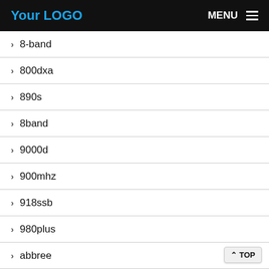Your LOGO  MENU
> 8-band
> 800dxa
> 890s
> 8band
> 9000d
> 900mhz
> 918ssb
> 980plus
> abbree
> accurate
> ad9361
> ad9819